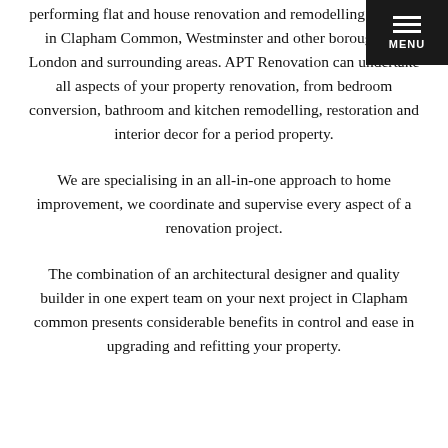performing flat and house renovation and remodelling services in Clapham Common, Westminster and other boroughs of London and surrounding areas. APT Renovation can undertake all aspects of your property renovation, from bedroom conversion, bathroom and kitchen remodelling, restoration and interior decor for a period property.
We are specialising in an all-in-one approach to home improvement, we coordinate and supervise every aspect of a renovation project.
The combination of an architectural designer and quality builder in one expert team on your next project in Clapham common presents considerable benefits in control and ease in upgrading and refitting your property.